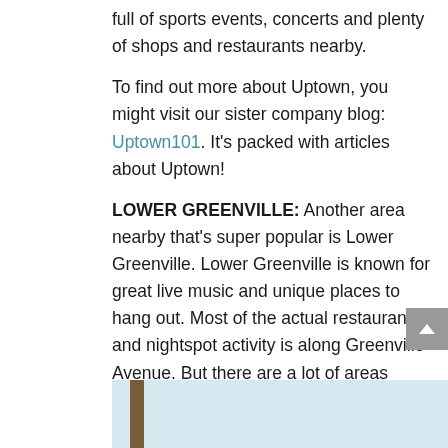full of sports events, concerts and plenty of shops and restaurants nearby.
To find out more about Uptown, you might visit our sister company blog: Uptown101. It's packed with articles about Uptown!
LOWER GREENVILLE: Another area nearby that's super popular is Lower Greenville.  Lower Greenville is known for great live music and unique places to hang out.  Most of the actual restaurants and nightspot activity is along Greenville Avenue.  But there are a lot of areas nearby there that might be worth checking out.  Prices are about the same here as in Uptown.
[Figure (photo): Partial view of a photo showing a wooden post against a light blue background, bottom of the page]